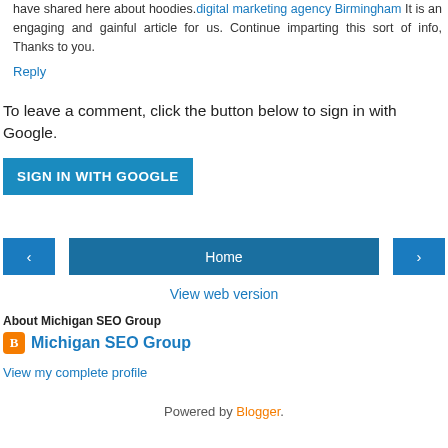have shared here about hoodies. digital marketing agency Birmingham It is an engaging and gainful article for us. Continue imparting this sort of info, Thanks to you.
Reply
To leave a comment, click the button below to sign in with Google.
SIGN IN WITH GOOGLE
‹  Home  ›
View web version
About Michigan SEO Group
Michigan SEO Group
View my complete profile
Powered by Blogger.